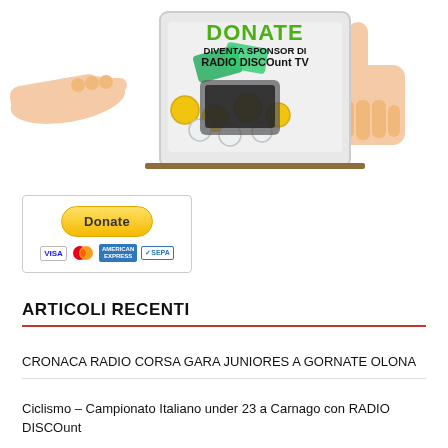[Figure (illustration): Donate banner with hands pointing at a donation box filled with coins and bills. Text reads: DONATE DIVENTA SPONSOR DI RADIO DISCOunt TV]
[Figure (screenshot): PayPal Donate button (yellow rounded button with text 'Donate') with payment logos: VISA, Mastercard, American Express, SEPA]
ARTICOLI RECENTI
CRONACA RADIO CORSA GARA JUNIORES A GORNATE OLONA
Ciclismo – Campionato Italiano under 23 a Carnago con RADIO DISCOunt